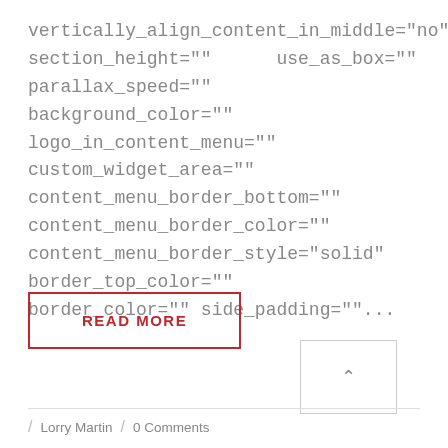vertically_align_content_in_middle="no"
section_height=""      use_as_box=""
parallax_speed=""
background_color=""
logo_in_content_menu=""
custom_widget_area=""
content_menu_border_bottom=""
content_menu_border_color=""
content_menu_border_style="solid"
border_top_color=""
border_color="" side_padding=""...
READ MORE
/ Lorry Martin / 0 Comments